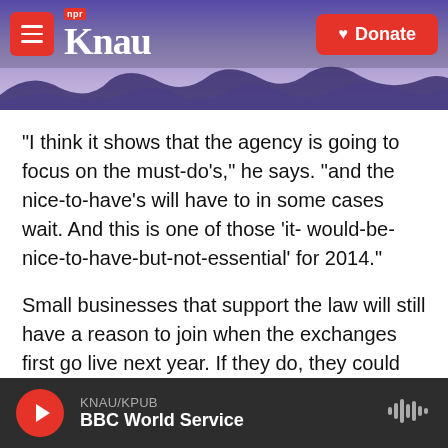KNAU NPR — Donate
"I think it shows that the agency is going to focus on the must-do's," he says. "and the nice-to-have's will have to in some cases wait. And this is one of those 'it- would-be-nice-to-have-but-not-essential' for 2014."
Small businesses that support the law will still have a reason to join when the exchanges first go live next year. If they do, they could be eligible for new tax credits that can lower the cost of providing coverage.
KNAU/KPUB BBC World Service